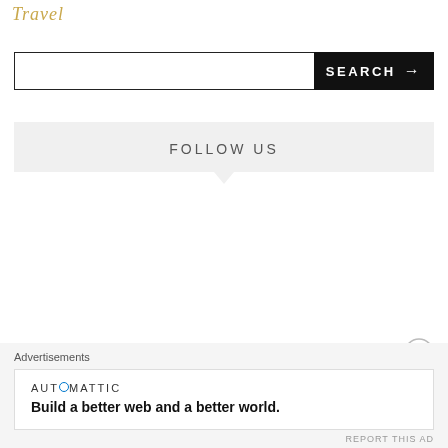Travel
SEARCH →
FOLLOW US
Advertisements
AUTOMATTIC
Build a better web and a better world.